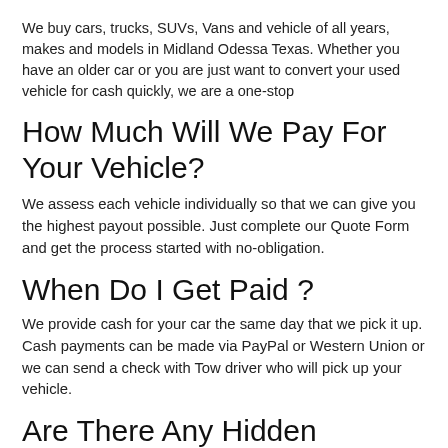We buy cars, trucks, SUVs, Vans and vehicle of all years, makes and models in Midland Odessa Texas. Whether you have an older car or you are just want to convert your used vehicle for cash quickly, we are a one-stop
How Much Will We Pay For Your Vehicle?
We assess each vehicle individually so that we can give you the highest payout possible. Just complete our Quote Form and get the process started with no-obligation.
When Do I Get Paid ?
We provide cash for your car the same day that we pick it up. Cash payments can be made via PayPal or Western Union or we can send a check with Tow driver who will pick up your vehicle.
Are There Any Hidden Charges?
Absolutely not. We handle each stage of the process for